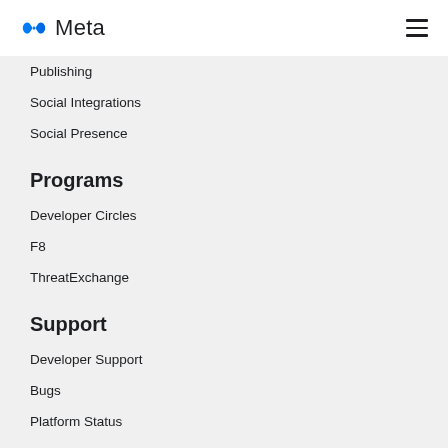Meta
Publishing
Social Integrations
Social Presence
Programs
Developer Circles
F8
ThreatExchange
Support
Developer Support
Bugs
Platform Status
Facebook for Developers Community Group ↗
Sitemap